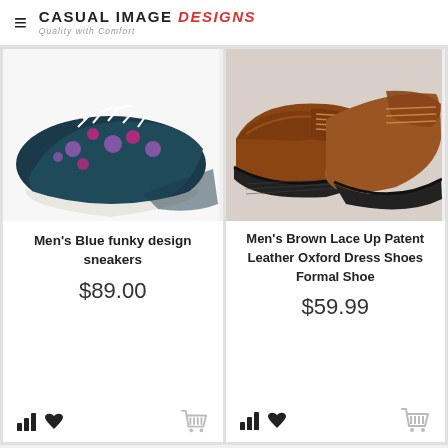CASUAL IMAGE DESIGns - Quality with Comfort
[Figure (photo): Men's blue funky design sneakers with white laces and floral pattern on dark background]
Men's Blue funky design sneakers
$89.00
[Figure (photo): Men's brown lace up patent leather Oxford dress shoes on dark sole]
Men's Brown Lace Up Patent Leather Oxford Dress Shoes Formal Shoe
$59.99